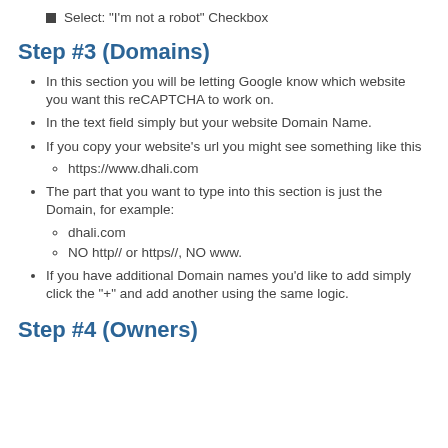Select: "I'm not a robot" Checkbox
Step #3 (Domains)
In this section you will be letting Google know which website you want this reCAPTCHA to work on.
In the text field simply but your website Domain Name.
If you copy your website's url you might see something like this
https://www.dhali.com
The part that you want to type into this section is just the Domain, for example:
dhali.com
NO http// or https//, NO www.
If you have additional Domain names you'd like to add simply click the "+" and add another using the same logic.
Step #4 (Owners)